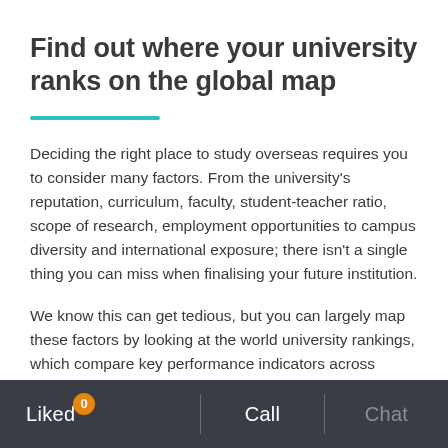Find out where your university ranks on the global map
Deciding the right place to study overseas requires you to consider many factors. From the university's reputation, curriculum, faculty, student-teacher ratio, scope of research, employment opportunities to campus diversity and international exposure; there isn't a single thing you can miss when finalising your future institution.
We know this can get tedious, but you can largely map these factors by looking at the world university rankings, which compare key performance indicators across different universities or schools.
Liked 0  |  Call  |  Chat